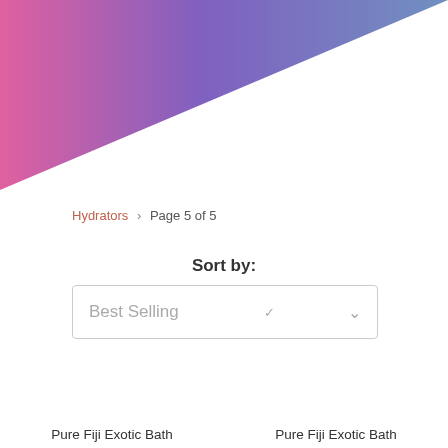[Figure (illustration): Diagonal gradient banner across top-left, blending pink/magenta to purple/lavender to steel blue, covering upper-left triangle of the page.]
Hydrators > Page 5 of 5
Sort by:
Best Selling
Pure Fiji Exotic Bath
Pure Fiji Exotic Bath